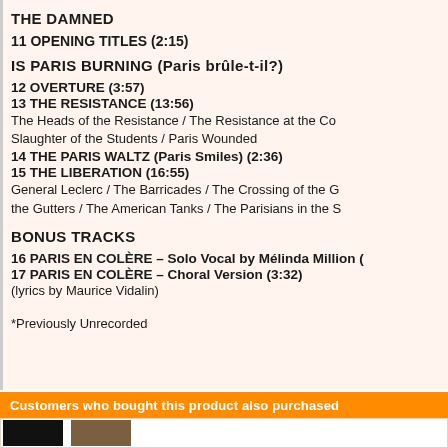THE DAMNED
11 OPENING TITLES (2:15)
IS PARIS BURNING (Paris brûle-t-il?)
12 OVERTURE (3:57)
13 THE RESISTANCE (13:56)
The Heads of the Resistance / The Resistance at the Co…
Slaughter of the Students / Paris Wounded
14 THE PARIS WALTZ (Paris Smiles) (2:36)
15 THE LIBERATION (16:55)
General Leclerc / The Barricades / The Crossing of the G…
the Gutters / The American Tanks / The Parisians in the S…
BONUS TRACKS
16 PARIS EN COLÈRE – Solo Vocal by Mélinda Million (…
17 PARIS EN COLÈRE – Choral Version (3:32)
(lyrics by Maurice Vidalin)
*Previously Unrecorded
Customers who bought this product also purchased
[Figure (photo): Two product thumbnail images at the bottom of the page]